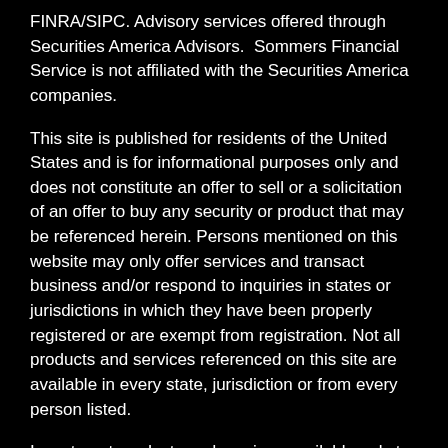FINRA/SIPC. Advisory services offered through Securities America Advisors.  Sommers Financial Service is not affiliated with the Securities America companies.
This site is published for residents of the United States and is for informational purposes only and does not constitute an offer to sell or a solicitation of an offer to buy any security or product that may be referenced herein. Persons mentioned on this website may only offer services and transact business and/or respond to inquiries in states or jurisdictions in which they have been properly registered or are exempt from registration. Not all products and services referenced on this site are available in every state, jurisdiction or from every person listed.
Investment products and services available only to residents of: AR, AZ, CO, FL, GA, IL, IN, KS, KY, LA, MD, MI, MO, NC, NE, NV, OH, OK, OR, PA, SC, TN, TX, VA, WI, WV
Site Map